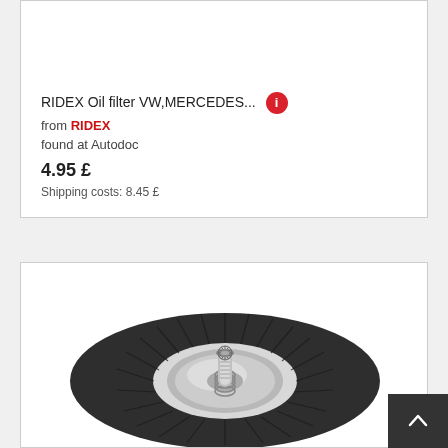RIDEX Oil filter VW,MERCEDES... from RIDEX found at Autodoc 4.95 £ Shipping costs: 8.45 £
[Figure (photo): Photo of a RIDEX oil filter — circular dark grey component with radial fins and a central silver/chrome threaded bolt, viewed from the front.]